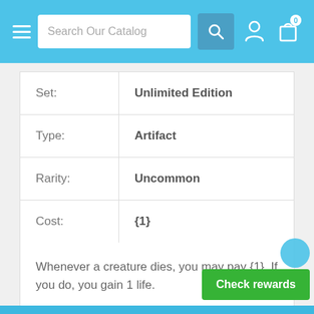Search Our Catalog navigation bar
|  |  |
| --- | --- |
| Set: | Unlimited Edition |
| Type: | Artifact |
| Rarity: | Uncommon |
| Cost: | {1} |
Whenever a creature dies, you may pay {1}. If you do, you gain 1 life.